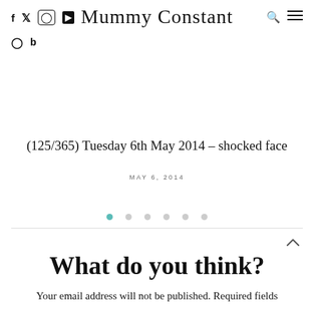Mummy Constant
(125/365) Tuesday 6th May 2014 – shocked face
MAY 6, 2014
What do you think?
Your email address will not be published. Required fields